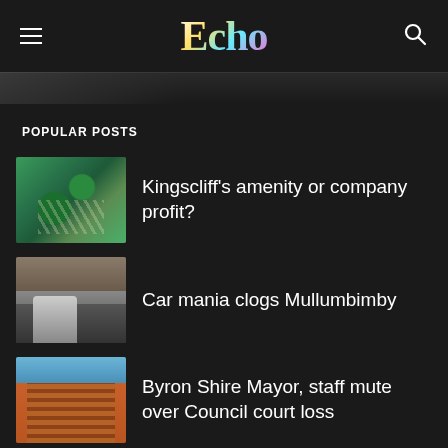Echo
POPULAR POSTS
Kingscliff’s amenity or company profit?
Car mania clogs Mullumbimby
Byron Shire Mayor, staff mute over Council court loss